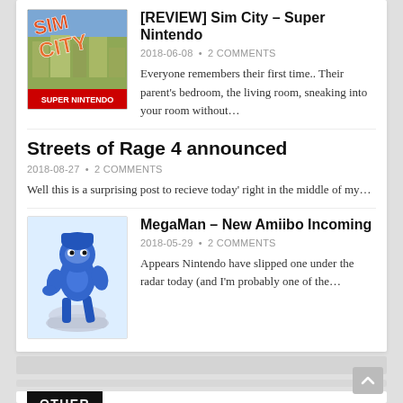[REVIEW] Sim City – Super Nintendo
2018-06-08 • 2 COMMENTS
Everyone remembers their first time.. Their parent's bedroom, the living room, sneaking into your room without…
Streets of Rage 4 announced
2018-08-27 • 2 COMMENTS
Well this is a surprising post to recieve today' right in the middle of my…
[Figure (photo): MegaMan amiibo figure in blue, action pose on white base]
MegaMan – New Amiibo Incoming
2018-05-29 • 2 COMMENTS
Appears Nintendo have slipped one under the radar today (and I'm probably one of the…
OTHER